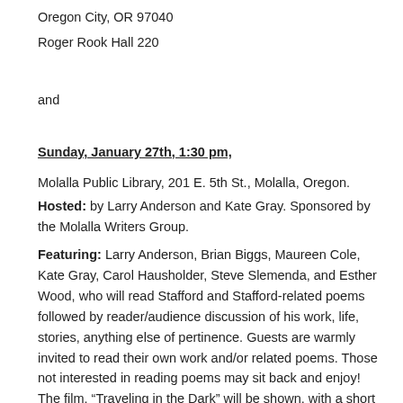Oregon City, OR 97040
Roger Rook Hall 220
and
Sunday, January 27th, 1:30 pm,
Molalla Public Library, 201 E. 5th St., Molalla, Oregon.
Hosted: by Larry Anderson and Kate Gray. Sponsored by the Molalla Writers Group.
Featuring: Larry Anderson, Brian Biggs, Maureen Cole, Kate Gray, Carol Hausholder, Steve Slemenda, and Esther Wood, who will read Stafford and Stafford-related poems followed by reader/audience discussion of his work, life, stories, anything else of pertinence. Guests are warmly invited to read their own work and/or related poems. Those not interested in reading poems may sit back and enjoy! The film, “Traveling in the Dark” will be shown, with a short discussion to follow.